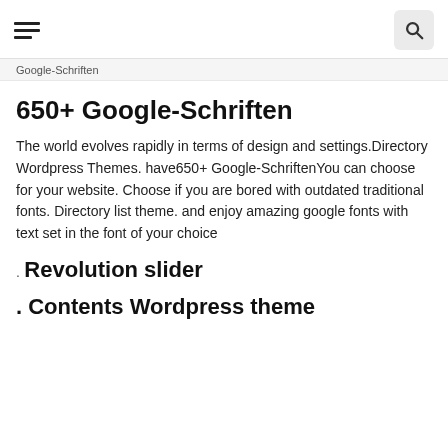≡  🔍
Google-Schriften (partial)
650+ Google-Schriften
The world evolves rapidly in terms of design and settings.Directory Wordpress Themes. have650+ Google-SchriftenYou can choose for your website. Choose if you are bored with outdated traditional fonts. Directory list theme. and enjoy amazing google fonts with text set in the font of your choice
.
Revolution slider
. Contents Wordpress theme